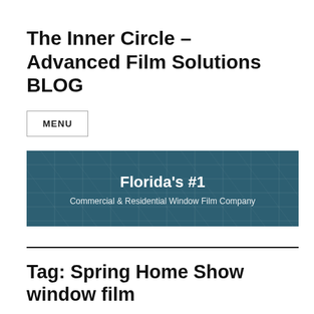The Inner Circle – Advanced Film Solutions BLOG
MENU
[Figure (infographic): Dark teal banner with text 'Florida's #1' in bold white and subtitle 'Commercial & Residential Window Film Company' in lighter white text, with subtle tile/grid pattern in the background.]
Tag: Spring Home Show window film